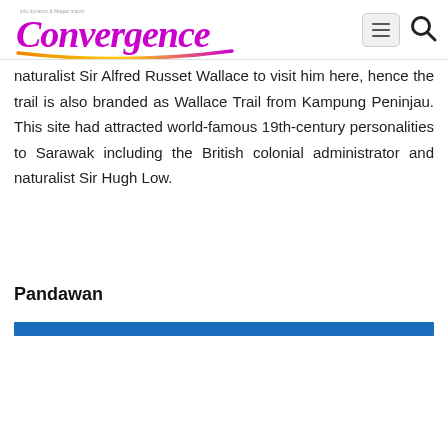Convergence
naturalist Sir Alfred Russet Wallace to visit him here, hence the trail is also branded as Wallace Trail from Kampung Peninjau. This site had attracted world-famous 19th-century personalities to Sarawak including the British colonial administrator and naturalist Sir Hugh Low.
Pandawan
[Figure (other): A solid blue horizontal bar/divider below the Pandawan section header]